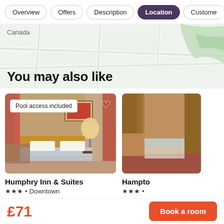Overview | Offers | Description | Location | Customer
[Figure (map): Map view showing Canada road map in light green and white]
You may also like
[Figure (photo): Hotel room photo for Humphry Inn & Suites with pool access included badge and heart icon]
Pool access included
Humphry Inn & Suites
★★★ • Downtown
[Figure (photo): Partial hotel room photo for Hampton hotel]
Hampto
★★★ •
£48
£71  Book a room